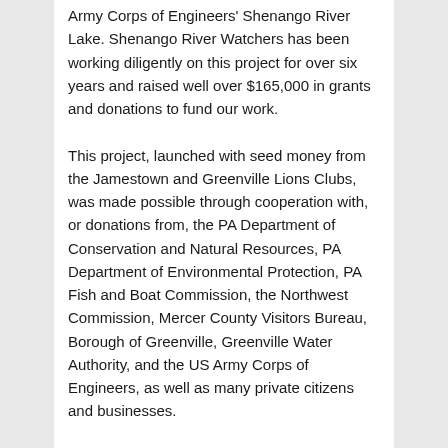Army Corps of Engineers' Shenango River Lake. Shenango River Watchers has been working diligently on this project for over six years and raised well over $165,000 in grants and donations to fund our work. This project, launched with seed money from the Jamestown and Greenville Lions Clubs, was made possible through cooperation with, or donations from, the PA Department of Conservation and Natural Resources, PA Department of Environmental Protection, PA Fish and Boat Commission, the Northwest Commission, Mercer County Visitors Bureau, Borough of Greenville, Greenville Water Authority, and the US Army Corps of Engineers, as well as many private citizens and businesses. The Mercer County Commissioners, the Western PA Conservancy, and the Shenango Conservancy also contributed, and of course the